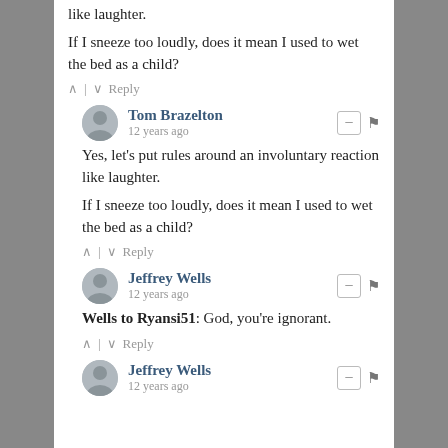like laughter.
If I sneeze too loudly, does it mean I used to wet the bed as a child?
^ | v  Reply
Tom Brazelton
12 years ago
Yes, let's put rules around an involuntary reaction like laughter.

If I sneeze too loudly, does it mean I used to wet the bed as a child?
^ | v  Reply
Jeffrey Wells
12 years ago
Wells to Ryansi51: God, you're ignorant.
^ | v  Reply
Jeffrey Wells
12 years ago